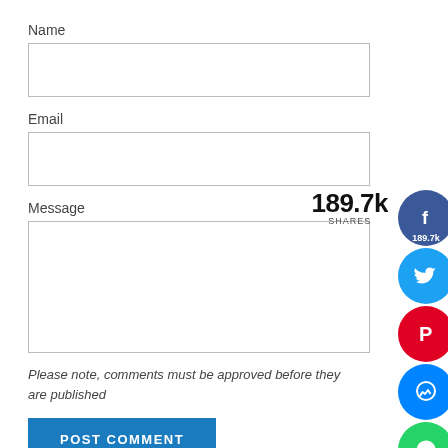Name
Email
189.7k SHARES
Message
Please note, comments must be approved before they are published
POST COMMENT